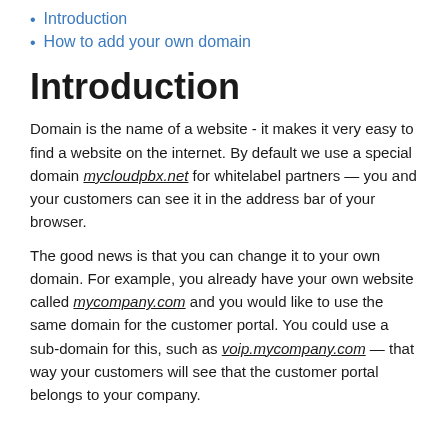Introduction
How to add your own domain
Introduction
Domain is the name of a website - it makes it very easy to find a website on the internet. By default we use a special domain mycloudpbx.net for whitelabel partners — you and your customers can see it in the address bar of your browser.
The good news is that you can change it to your own domain. For example, you already have your own website called mycompany.com and you would like to use the same domain for the customer portal. You could use a sub-domain for this, such as voip.mycompany.com — that way your customers will see that the customer portal belongs to your company.